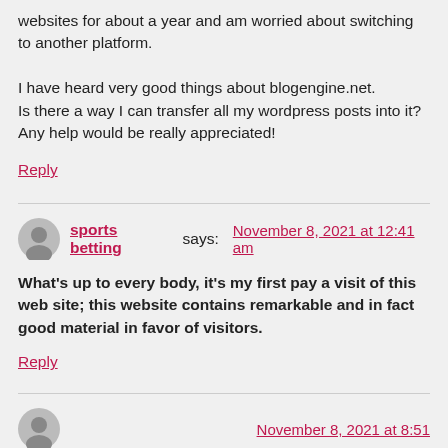websites for about a year and am worried about switching to another platform.

I have heard very good things about blogengine.net. Is there a way I can transfer all my wordpress posts into it? Any help would be really appreciated!
Reply
sports betting says: November 8, 2021 at 12:41 am
What's up to every body, it's my first pay a visit of this web site; this website contains remarkable and in fact good material in favor of visitors.
Reply
November 8, 2021 at 8:51